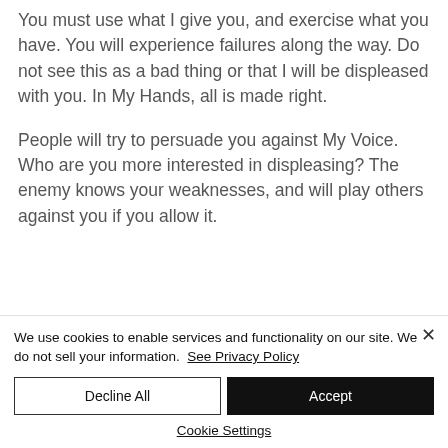You must use what I give you, and exercise what you have. You will experience failures along the way. Do not see this as a bad thing or that I will be displeased with you. In My Hands, all is made right.
People will try to persuade you against My Voice. Who are you more interested in displeasing? The enemy knows your weaknesses, and will play others against you if you allow it.
We use cookies to enable services and functionality on our site. We do not sell your information. See Privacy Policy
Decline All
Accept
Cookie Settings